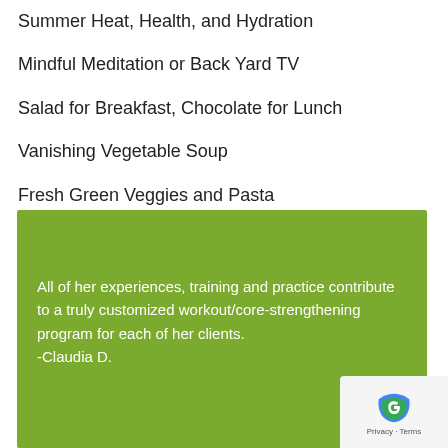Summer Heat, Health, and Hydration
Mindful Meditation or Back Yard TV
Salad for Breakfast, Chocolate for Lunch
Vanishing Vegetable Soup
Fresh Green Veggies and Pasta
All of her experiences, training and practice contribute to a truly customized workout/core-strengthening program for each of her clients.
-Claudia D.